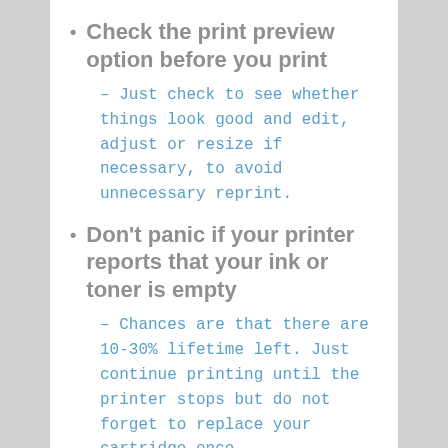Check the print preview option before you print
– Just check to see whether things look good and edit, adjust or resize if necessary, to avoid unnecessary reprint.
Don't panic if your printer reports that your ink or toner is empty
– Chances are that there are 10-30% lifetime left. Just continue printing until the printer stops but do not forget to replace your cartridge once